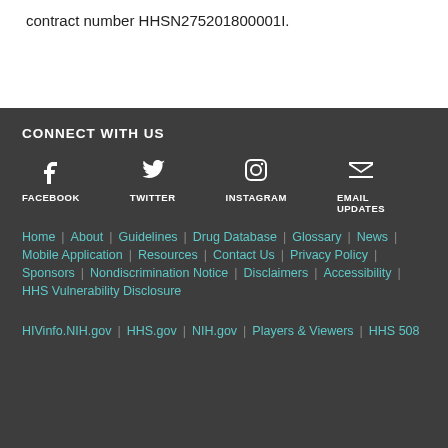contract number HHSN275201800001I.
CONNECT WITH US
FACEBOOK   TWITTER   INSTAGRAM   EMAIL UPDATES
Home | About | Guidelines | Drug Database | Glossary | News |
Mobile Application | Resources | Contact Us | Privacy Policy |
Sponsors | Nondiscrimination Notice | Disclaimers | Accessibility |
HHS Vulnerability Disclosure
HIVinfo.NIH.gov | HHS.gov | NIH.gov | Players & Viewers | HHS 508